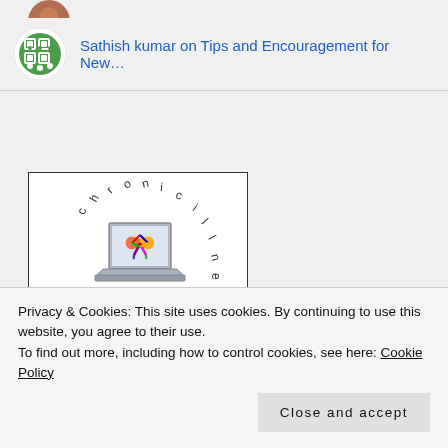[Figure (photo): Partial avatar photo at top - appears to be a person's photo, partially cropped]
Sathish kumar on Tips and Encouragement for New…
[Figure (logo): Chronic Illness Bloggers logo - circular text reading 'chronic illness' around a laptop with a rainbow ribbon, with 'bloggers' in large script font]
Privacy & Cookies: This site uses cookies. By continuing to use this website, you agree to their use.
To find out more, including how to control cookies, see here: Cookie Policy
Close and accept